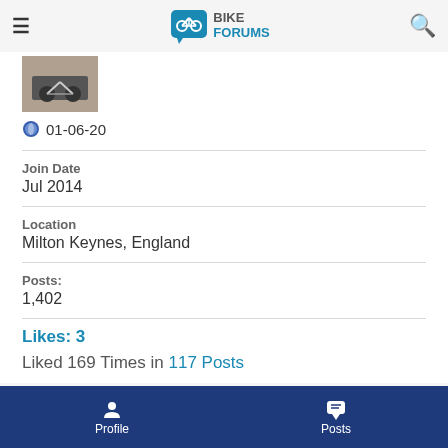Bike Forums
[Figure (photo): Avatar thumbnail showing a bicycle on a grey surface]
01-06-20
Join Date
Jul 2014
Location
Milton Keynes, England
Posts:
1,402
Likes: 3
Liked 169 Times in 117 Posts
Profile    Posts